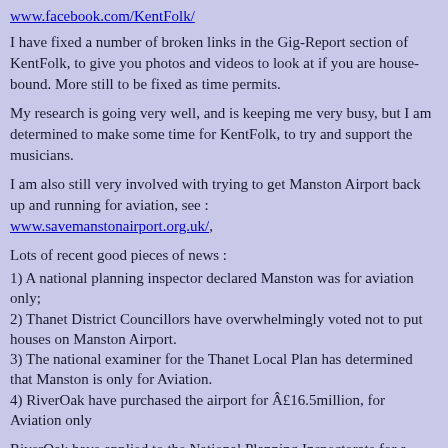www.facebook.com/KentFolk/
I have fixed a number of broken links in the Gig-Report section of KentFolk, to give you photos and videos to look at if you are house-bound. More still to be fixed as time permits.
My research is going very well, and is keeping me very busy, but I am determined to make some time for KentFolk, to try and support the musicians.
I am also still very involved with trying to get Manston Airport back up and running for aviation, see : www.savemanstonairport.org.uk/,
Lots of recent good pieces of news :
1) A national planning inspector declared Manston was for aviation only;
2) Thanet District Councillors have overwhelmingly voted not to put houses on Manston Airport.
3) The national examiner for the Thanet Local Plan has determined that Manston is only for Aviation.
4) RiverOak have purchased the airport for £16.5million, for Aviation only
RiverOak have applied to the National Planning Inspectorate for a